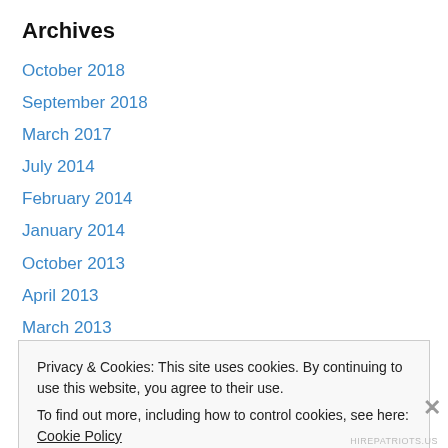Archives
October 2018
September 2018
March 2017
July 2014
February 2014
January 2014
October 2013
April 2013
March 2013
February 2013
September 2012
Privacy & Cookies: This site uses cookies. By continuing to use this website, you agree to their use.
To find out more, including how to control cookies, see here: Cookie Policy
[Close and accept]